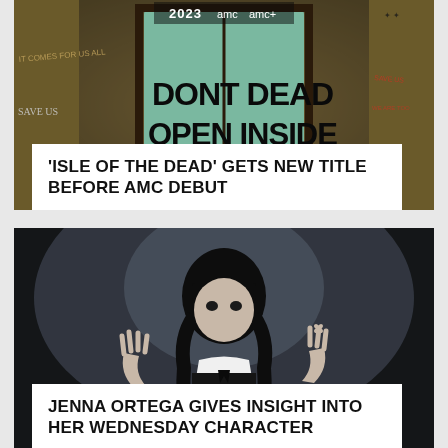[Figure (photo): Promotional image for 'Isle of the Dead' / AMC show — a dark bunker door with graffiti reading 'DONT DEAD OPEN INSIDE', with '2023 AMC AMC+' logo at top, and text 'IT COMES FOR US ALL', 'SAVE US' on the walls]
'ISLE OF THE DEAD' GETS NEW TITLE BEFORE AMC DEBUT
[Figure (photo): Photo of actress Jenna Ortega in character as Wednesday Addams — dark background with spotlight, wearing black dress with white collar, dark braided hair, serious expression, hands raised]
JENNA ORTEGA GIVES INSIGHT INTO HER WEDNESDAY CHARACTER